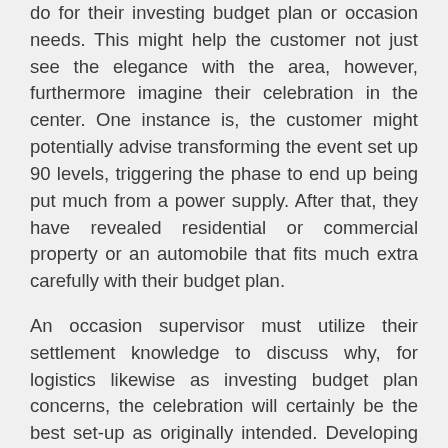do for their investing budget plan or occasion needs. This might help the customer not just see the elegance with the area, however, furthermore imagine their celebration in the center. One instance is, the customer might potentially advise transforming the event set up 90 levels, triggering the phase to end up being put much from a power supply. After that, they have revealed residential or commercial property or an automobile that fits much extra carefully with their budget plan.
An occasion supervisor must utilize their settlement knowledge to discuss why, for logistics likewise as investing budget plan concerns, the celebration will certainly be the best set-up as originally intended. Developing the connection and also getting the customer to state “yes” is best accomplished by layering the demands. When details issues, as well as you desire assistance in selecting the most effective casino driver, we recommend that you examine our website. After that, you could desire to check and miss this website out one more one. Obtain them to consent to some point smaller sized, like an internet site evaluation. Also, they will certainly have a whole lot less complicated time concurring to some point larger, like